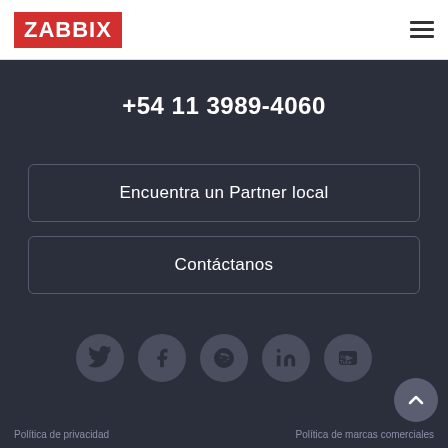[Figure (logo): Zabbix logo: white text on red background]
+54 11 3989-4060
Encuentra un Partner local
Contáctanos
[Figure (illustration): Social media icons row: Twitter, Facebook, Reddit, LinkedIn, YouTube]
Política de privacidad   Política de marcas comerciales